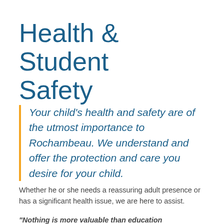Health & Student Safety
Your child's health and safety are of the utmost importance to Rochambeau.  We understand and offer the protection and care you desire for your child.
Whether he or she needs a reassuring adult presence or has a significant health issue, we are here to assist.
"Nothing is more valuable than education